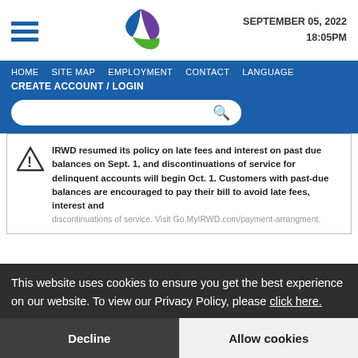SEPTEMBER 05, 2022 18:05PM
[Figure (logo): IRWD colorful pinwheel logo with blue, purple, and green swoosh shapes]
HOME  SITE MAP  EMPLOYMENT  CONTACT  LANGUAGE
CREATE ACCOUNT / LOGIN
IRWD resumed its policy on late fees and interest on past due balances on Sept. 1, and discontinuations of service for delinquent accounts will begin Oct. 1. Customers with past-due balances are encouraged to pay their bill to avoid late fees, interest and discontinuations of service. Visit Go.MyIRWD.com/payment-arrangment.
This website uses cookies to ensure you get the best experience on our website. To view our Privacy Policy, please click here.
Decline
Allow cookies